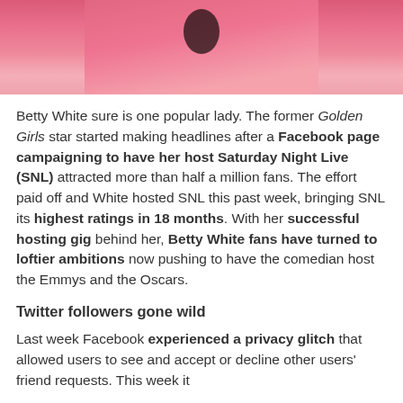[Figure (photo): Cropped photo of a woman in a pink jacket with a black beaded necklace, partially visible at the top of the page]
Betty White sure is one popular lady. The former Golden Girls star started making headlines after a Facebook page campaigning to have her host Saturday Night Live (SNL) attracted more than half a million fans. The effort paid off and White hosted SNL this past week, bringing SNL its highest ratings in 18 months. With her successful hosting gig behind her, Betty White fans have turned to loftier ambitions now pushing to have the comedian host the Emmys and the Oscars.
Twitter followers gone wild
Last week Facebook experienced a privacy glitch that allowed users to see and accept or decline other users' friend requests. This week it